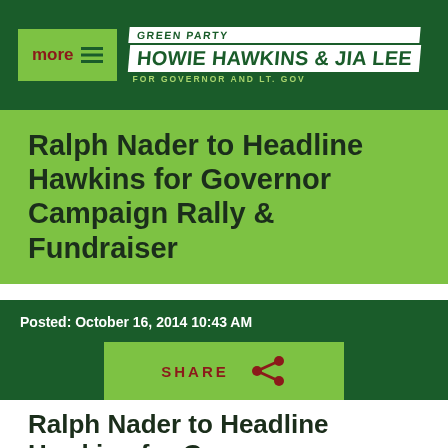GREEN PARTY HOWIE HAWKINS & JIA LEE FOR GOVERNOR AND LT. GOV
Ralph Nader to Headline Hawkins for Governor Campaign Rally & Fundraiser
Posted: October 16, 2014 10:43 AM
SHARE
Ralph Nader to Headline Hawkins for Governor